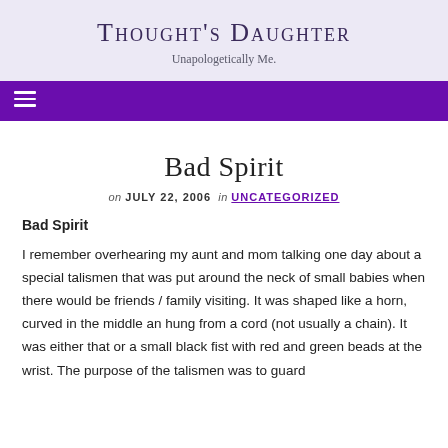Thought's Daughter
Unapologetically Me.
Bad Spirit
on JULY 22, 2006 in UNCATEGORIZED
Bad Spirit
I remember overhearing my aunt and mom talking one day about a special talismen that was put around the neck of small babies when there would be friends / family visiting. It was shaped like a horn, curved in the middle an hung from a cord (not usually a chain). It was either that or a small black fist with red and green beads at the wrist. The purpose of the talismen was to guard